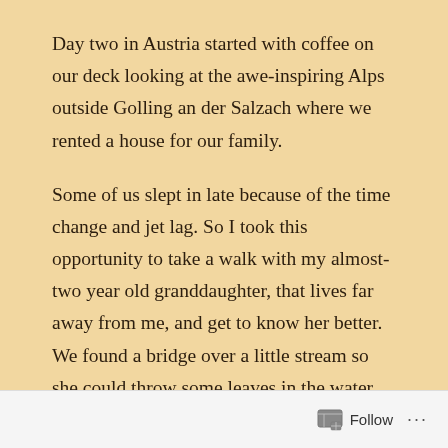Day two in Austria started with coffee on our deck looking at the awe-inspiring Alps outside Golling an der Salzach where we rented a house for our family.
Some of us slept in late because of the time change and jet lag. So I took this opportunity to take a walk with my almost-two year old granddaughter, that lives far away from me, and get to know her better.  We found a bridge over a little stream so she could throw some leaves in the water.  We had three children under two years of age, so we knew this would be a challenge to go into Salzburg.
When traveling with children this young, your mindset HAS TO BE patience, flexibility and adaptability
Follow ...